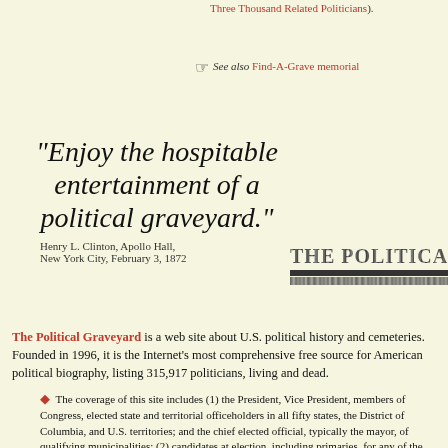Three Thousand Related Politicians).
See also Find-A-Grave memorial
"Enjoy the hospitable entertainment of a political graveyard."
Henry L. Clinton, Apollo Hall, New York City, February 3, 1872
[Figure (illustration): THE POLITICAL GRAVEYARD masthead with decorative text and underline]
The Political Graveyard is a web site about U.S. political history and cemeteries. Founded in 1996, it is the Internet's most comprehensive free source for American political biography, listing 315,917 politicians, living and dead.
The coverage of this site includes (1) the President, Vice President, members of Congress, elected state and territorial officeholders in all fifty states, the District of Columbia, and U.S. territories; and the chief elected official, typically the mayor, of qualifying municipalities; (2) candidates at election, including primaries, for any of the above; (3) all federal judges and all state appellate judges; (4) certain federal officials, including the